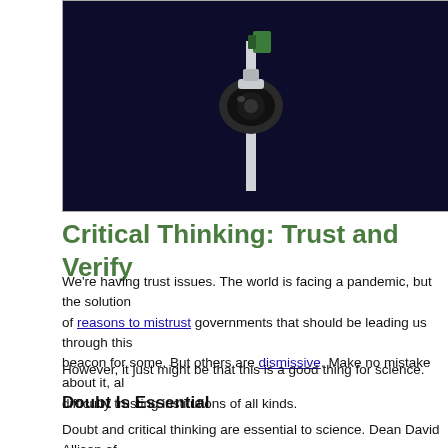[Figure (photo): A security camera or scientific equipment on a pole against a dark navy background]
Critical Thinking: Trust and Verify
We're having trust issues. The world is facing a pandemic, but the solution of reasons to mistrust governments that should be leading us through this beacon for some. But others are dismissive. Make no mistake about it, all difficulty trusting institutions of all kinds.
However, it just might be that this is a good thing for science.
Doubt Is Essential
Doubt and critical thinking are essential to science. Dean David Allison of Public Health tells us:
“Nearly every important scientific discovery – and every public hea good question.”
Writing in Scientific American, Liv Griebine explains why questions and d